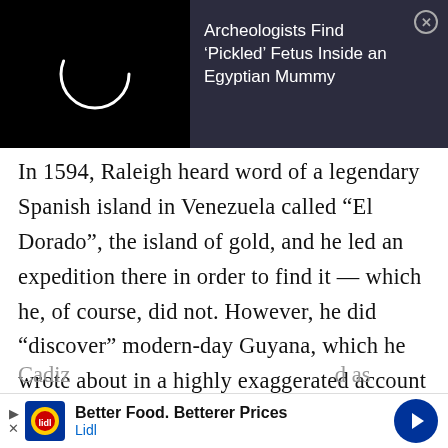[Figure (screenshot): Dark notification banner showing a loading spinner on black background on the left, and text 'Archeologists Find ‘Pickled’ Fetus Inside an Egyptian Mummy' on dark background on the right with a close button.]
In 1594, Raleigh heard word of a legendary Spanish island in Venezuela called “El Dorado”, the island of gold, and he led an expedition there in order to find it — which he, of course, did not. However, he did “discover” modern-day Guyana, which he wrote about in a highly exaggerated account entitled The Discovery of Guiana in 1596. The same year, he took part in the Capture of
[Figure (screenshot): Bottom advertisement banner for Lidl showing 'Better Food. Betterer Prices' with Lidl logo and navigation arrow icon.]